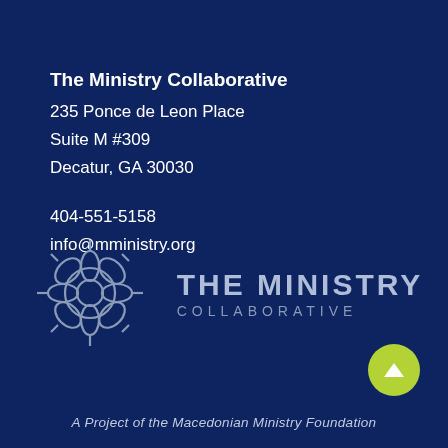The Ministry Collaborative
235 Ponce de Leon Place
Suite M #309
Decatur, GA 30030

404-551-5158
info@mministry.org
[Figure (logo): The Ministry Collaborative logo: decorative snowflake/cross emblem in grey outline on dark blue background, beside the text THE MINISTRY COLLABORATIVE in large grey letters]
A Project of the Macedonian Ministry Foundation